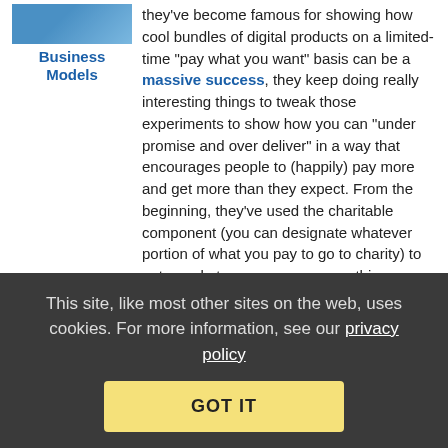they've become famous for showing how cool bundles of digital products on a limited-time "pay what you want" basis can be a massive success, they keep doing really interesting things to tweak those experiments to show how you can "under promise and over deliver" in a way that encourages people to (happily) pay more and get more than they expect. From the beginning, they've used the charitable component (you can designate whatever portion of what you pay to go to charity) to get people to pay more — something studies have shown works well to get people to pay higher amounts. They've also offered special products if you pay above the average price, which encourages people to both buy ear…
Business Models
19 Comments
Humble Bundle Launches Its First eBook
This site, like most other sites on the web, uses cookies. For more information, see our privacy policy
GOT IT